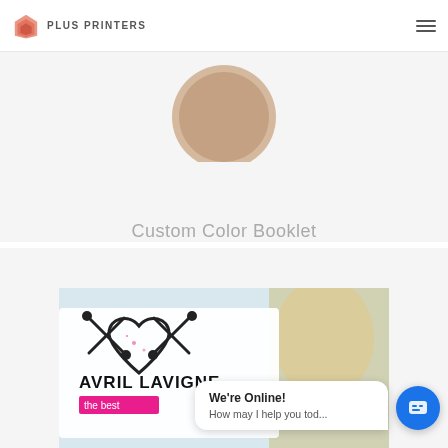PLUS PRINTERS
[Figure (screenshot): Custom Color Booklet product card showing partial booklet image and title text on light gray background]
Custom Color Booklet
[Figure (screenshot): Avril Lavigne themed booklet product card showing pink heart with crossbones design and the text AVRIL LAVIGNE and the best]
We're Online!
How may I help you tod...